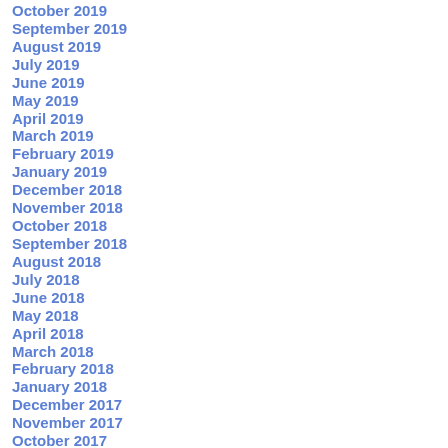October 2019
September 2019
August 2019
July 2019
June 2019
May 2019
April 2019
March 2019
February 2019
January 2019
December 2018
November 2018
October 2018
September 2018
August 2018
July 2018
June 2018
May 2018
April 2018
March 2018
February 2018
January 2018
December 2017
November 2017
October 2017
September 2017
August 2017
July 2017
June 2017
May 2017